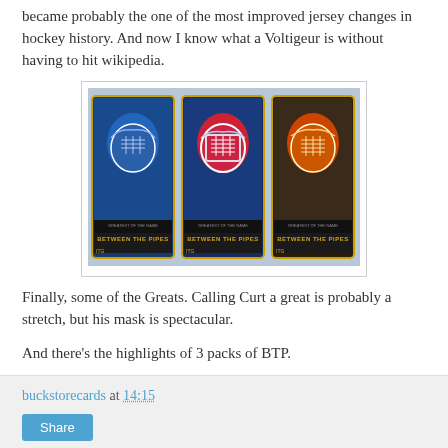became probably the one of the most improved jersey changes in hockey history. And now I know what a Voltigeur is without having to hit wikipedia.
[Figure (photo): Three hockey goalie mask trading cards from the 'Between the Pipes' series, shown side by side with gold borders. Cards feature close-up photos of goalie masks in blue, red/white/blue, and red/gold color schemes.]
Finally, some of the Greats. Calling Curt a great is probably a stretch, but his mask is spectacular.
And there's the highlights of 3 packs of BTP.
buckstorecards at 14:15
Share
1 comment: